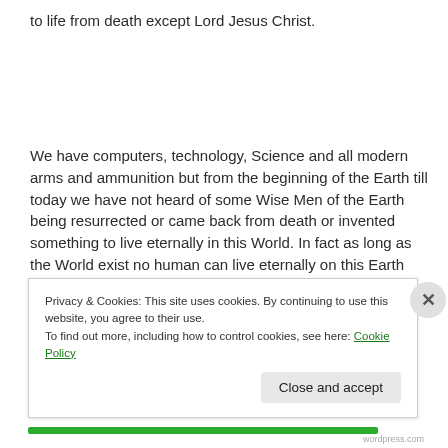to life from death except Lord Jesus Christ.
We have computers, technology, Science and all modern arms and ammunition but from the beginning of the Earth till today we have not heard of some Wise Men of the Earth being resurrected or came back from death or invented something to live eternally in this World. In fact as long as the World exist no human can live eternally on this Earth because the World itself is temporary and
Privacy & Cookies: This site uses cookies. By continuing to use this website, you agree to their use.
To find out more, including how to control cookies, see here: Cookie Policy
Close and accept